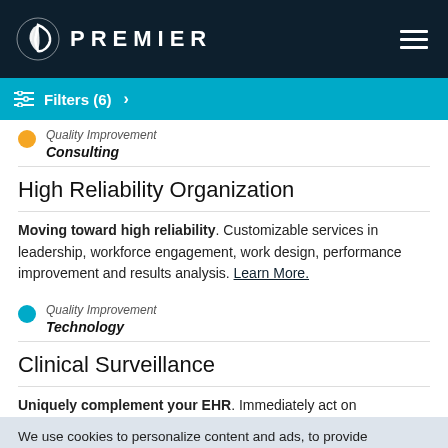PREMIER
Quality Improvement
Consulting
High Reliability Organization
Moving toward high reliability. Customizable services in leadership, workforce engagement, work design, performance improvement and results analysis. Learn More.
Quality Improvement
Technology
Clinical Surveillance
Uniquely complement your EHR. Immediately act on
We use cookies to personalize content and ads, to provide